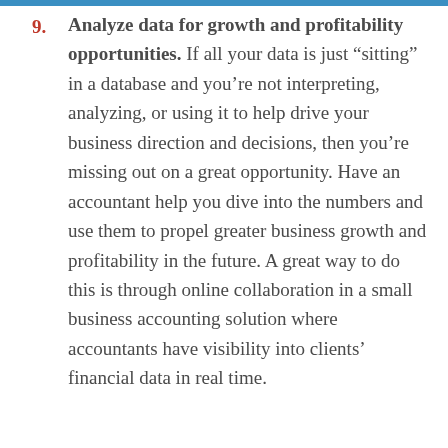9. Analyze data for growth and profitability opportunities. If all your data is just “sitting” in a database and you’re not interpreting, analyzing, or using it to help drive your business direction and decisions, then you’re missing out on a great opportunity. Have an accountant help you dive into the numbers and use them to propel greater business growth and profitability in the future. A great way to do this is through online collaboration in a small business accounting solution where accountants have visibility into clients’ financial data in real time.